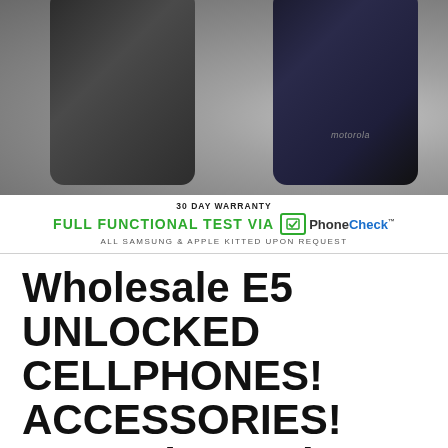[Figure (photo): Two Motorola E5 cell phones side by side against a bubble wrap background. Left phone is dark grey/black, right phone is dark navy/black with Motorola branding visible.]
30 DAY WARRANTY
FULL FUNCTIONAL TEST VIA PhoneCheck
ALL SAMSUNG & APPLE KITTED UPON REQUEST
Wholesale E5 UNLOCKED CELLPHONES! ACCESSORIES! Motorola E5 Play
REAGAN WIRELESS / AUGUST 23, 2019 /
CELL PHONE ACCESSORIES, CELL PHONE CABLES, CELL PHONE CHARGERS, MOTO E5,